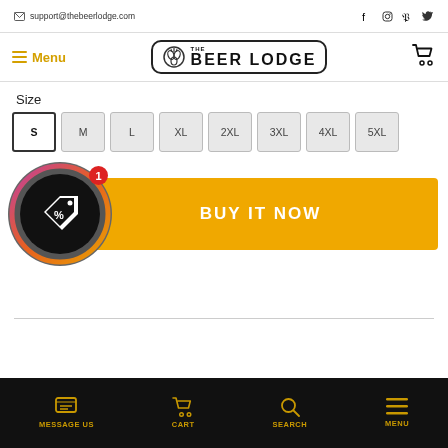support@thebeerlodge.com
[Figure (logo): The Beer Lodge logo with hop icon in rounded rectangle border]
Size
[Figure (infographic): Size selector buttons: S (selected/active), M, L, XL, 2XL, 3XL, 4XL, 5XL]
[Figure (infographic): Circular coupon/discount icon with gradient ring and badge showing '1', overlapping BUY IT NOW button]
MESSAGE US  CART  SEARCH  MENU